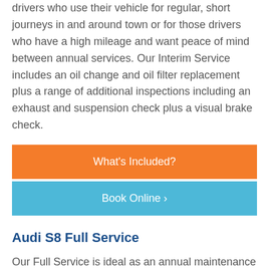drivers who use their vehicle for regular, short journeys in and around town or for those drivers who have a high mileage and want peace of mind between annual services. Our Interim Service includes an oil change and oil filter replacement plus a range of additional inspections including an exhaust and suspension check plus a visual brake check.
What's Included?
Book Online >
Audi S8 Full Service
Our Full Service is ideal as an annual maintenance programme for your car. We recommend your car receives a Full Service every 12,000 miles or 12